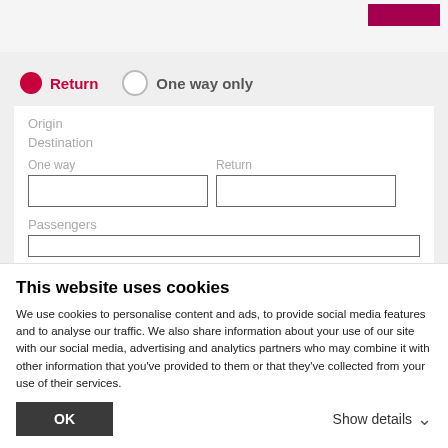[Figure (screenshot): Top bar with light gray background and a magenta/purple button in the upper right corner]
Return (selected radio button)
One way only (unselected radio button)
Origin
Destination
One way
Return
Passengers
This website uses cookies
We use cookies to personalise content and ads, to provide social media features and to analyse our traffic. We also share information about your use of our site with our social media, advertising and analytics partners who may combine it with other information that you've provided to them or that they've collected from your use of their services.
OK
Show details